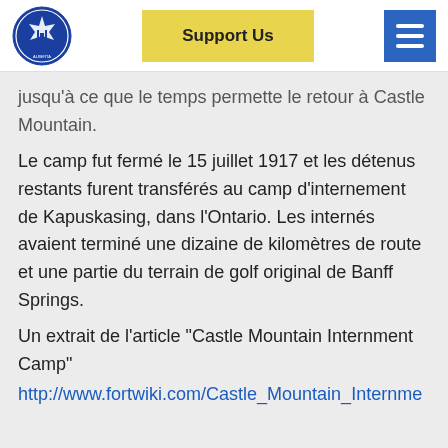Support Us
jusqu'à ce que le temps permette le retour à Castle Mountain.
Le camp fut fermé le 15 juillet 1917 et les détenus restants furent transférés au camp d'internement de Kapuskasing, dans l'Ontario. Les internés avaient terminé une dizaine de kilomètres de route et une partie du terrain de golf original de Banff Springs.
Un extrait de l'article "Castle Mountain Internment Camp"
http://www.fortwiki.com/Castle_Mountain_Internme